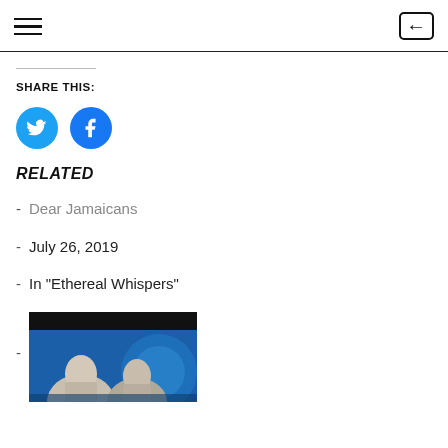Navigation bar with hamburger menu and back button
SHARE THIS:
[Figure (illustration): Two circular social media share buttons: Twitter (blue bird icon) and Facebook (blue f icon)]
RELATED
- Dear Jamaicans
- July 26, 2019
- In "Ethereal Whispers"
- [related article with thumbnail image]
[Figure (photo): Thumbnail photo showing two people in a TV studio setting with blue background graphics]